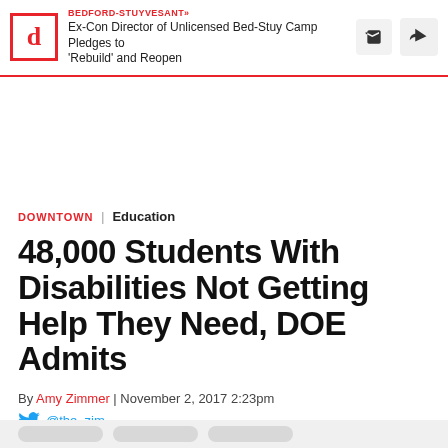BEDFORD-STUYVESANT» Ex-Con Director of Unlicensed Bed-Stuy Camp Pledges to 'Rebuild' and Reopen
DOWNTOWN / Education
48,000 Students With Disabilities Not Getting Help They Need, DOE Admits
By Amy Zimmer | November 2, 2017 2:23pm
@the_zim